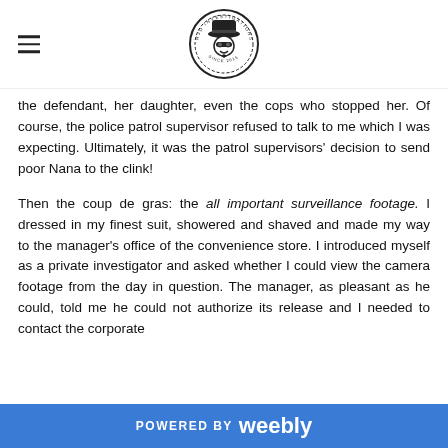RJD Investigations logo with hamburger menu
the defendant, her daughter, even the cops who stopped her. Of course, the police patrol supervisor refused to talk to me which I was expecting. Ultimately, it was the patrol supervisors' decision to send poor Nana to the clink!
Then the coup de gras: the all important surveillance footage. I dressed in my finest suit, showered and shaved and made my way to the manager's office of the convenience store. I introduced myself as a private investigator and asked whether I could view the camera footage from the day in question. The manager, as pleasant as he could, told me he could not authorize its release and I needed to contact the corporate
POWERED BY weebly